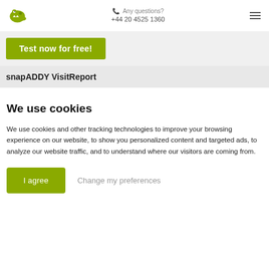Any questions? +44 20 4525 1360
Test now for free!
snapADDY VisitReport
We use cookies
We use cookies and other tracking technologies to improve your browsing experience on our website, to show you personalized content and targeted ads, to analyze our website traffic, and to understand where our visitors are coming from.
I agree   Change my preferences